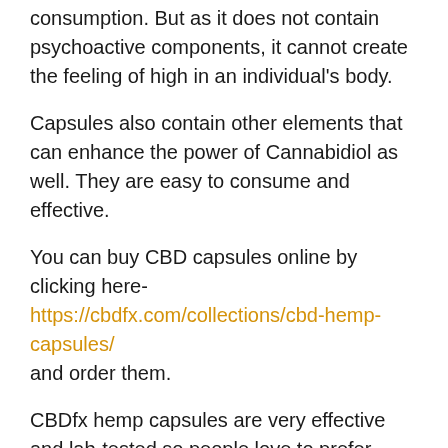consumption. But as it does not contain psychoactive components, it cannot create the feeling of high in an individual's body.
Capsules also contain other elements that can enhance the power of Cannabidiol as well. They are easy to consume and effective.
You can buy CBD capsules online by clicking here- https://cbdfx.com/collections/cbd-hemp-capsules/ and order them.
CBDfx hemp capsules are very effective and lab-tested so people love to prefer them while buying CBD products.
Choosing right Capsules needs good knowledge as these are not considered drugs, some organizations can provide false claims to this. And